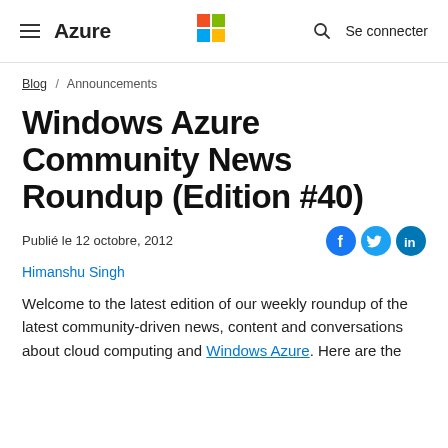Azure
Blog / Announcements
Windows Azure Community News Roundup (Edition #40)
Publié le 12 octobre, 2012
Himanshu Singh
Welcome to the latest edition of our weekly roundup of the latest community-driven news, content and conversations about cloud computing and Windows Azure. Here are the